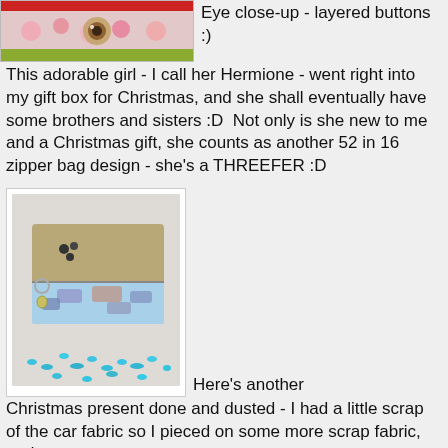[Figure (photo): Close-up photo of a handmade doll eye with layered buttons, on patterned fabric with flowers and red/green colors]
Eye close-up - layered buttons :)  This adorable girl - I call her Hermione - went right into my gift box for Christmas, and she shall eventually have some brothers and sisters :D  Not only is she new to me and a Christmas gift, she counts as another 52 in 16 zipper bag design - she's a THREEFER :D
[Figure (photo): A small handmade zipper bag with beige/gray top fabric and light blue car-print fabric on the bottom, with a keychain charm and scattered turquoise beads around it]
Here's another Christmas present done and dusted - I had a little scrap of the car fabric so I pieced on some more scrap fabric, and